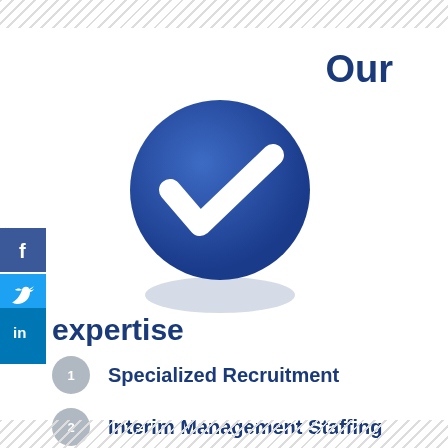Our
[Figure (illustration): Blue circular badge with a white checkmark/V symbol in the center, with a subtle shadow beneath]
[Figure (illustration): Social media icons: Facebook (blue square with f), Twitter (light blue square with bird), LinkedIn (blue square with in)]
expertise
1. Specialized Recruitment
2. Interim Management Staffing
3. Psychometric Tests
4. Business Coaching